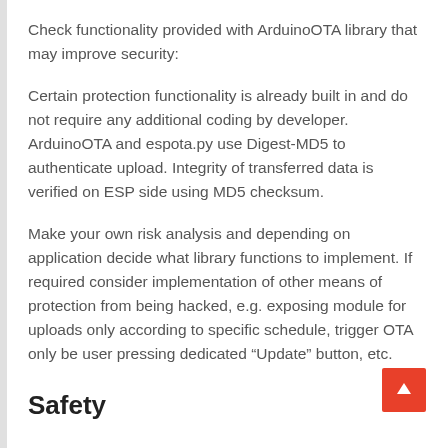Check functionality provided with ArduinoOTA library that may improve security:
Certain protection functionality is already built in and do not require any additional coding by developer. ArduinoOTA and espota.py use Digest-MD5 to authenticate upload. Integrity of transferred data is verified on ESP side using MD5 checksum.
Make your own risk analysis and depending on application decide what library functions to implement. If required consider implementation of other means of protection from being hacked, e.g. exposing module for uploads only according to specific schedule, trigger OTA only be user pressing dedicated “Update” button, etc.
Safety